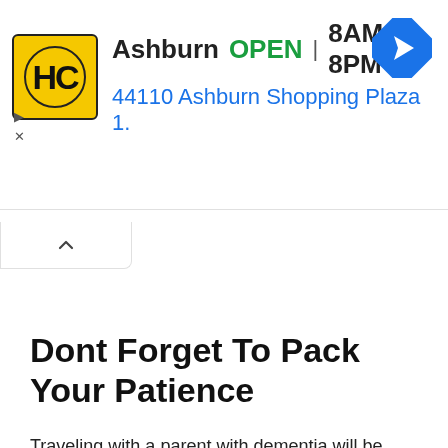[Figure (screenshot): Advertisement banner for Hairclub (HC) at Ashburn location. Shows HC logo in yellow box, text 'Ashburn OPEN 8AM–8PM' and '44110 Ashburn Shopping Plaza 1.' with blue navigation arrow icon. Small play and close controls on the left side.]
Dont Forget To Pack Your Patience
Traveling with a parent with dementia will be challenging at times. Your patience will be tested. So, have a strategy in place up front to manage your stress.
The important thing is to make the trip as enjoyable as